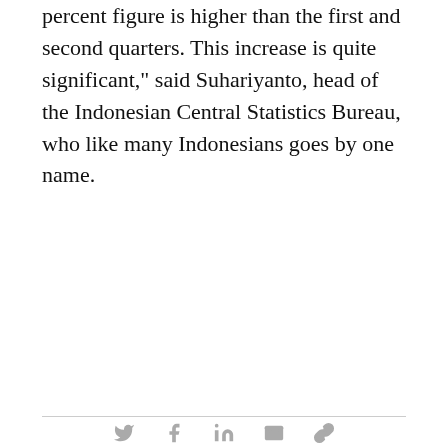percent figure is higher than the first and second quarters. This increase is quite significant," said Suhariyanto, head of the Indonesian Central Statistics Bureau, who like many Indonesians goes by one name.
[Figure (other): Social media sharing icons: Twitter, Facebook, LinkedIn, email, and link]
KEYWORDS
This website uses cookies
Please click to read our informative text prepared pursuant to the Law on the Protection of Personal Data No. 6698 and to get information about the cookies used on our